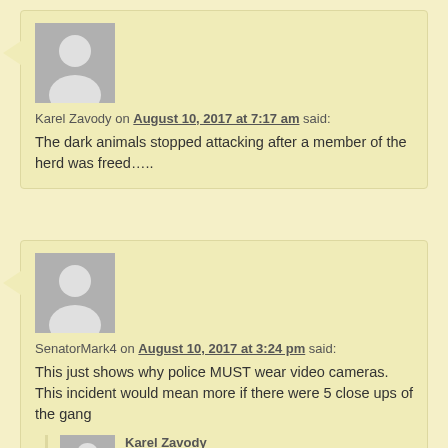[Figure (illustration): Gray avatar placeholder icon for user Karel Zavody]
Karel Zavody on August 10, 2017 at 7:17 am said:
The dark animals stopped attacking after a member of the herd was freed…..
[Figure (illustration): Gray avatar placeholder icon for user SenatorMark4]
SenatorMark4 on August 10, 2017 at 3:24 pm said:
This just shows why police MUST wear video cameras. This incident would mean more if there were 5 close ups of the gang
[Figure (illustration): Gray avatar placeholder icon for user Karel Zavody (nested reply)]
Karel Zavody on August 11, 2017 at 1:19 am said: